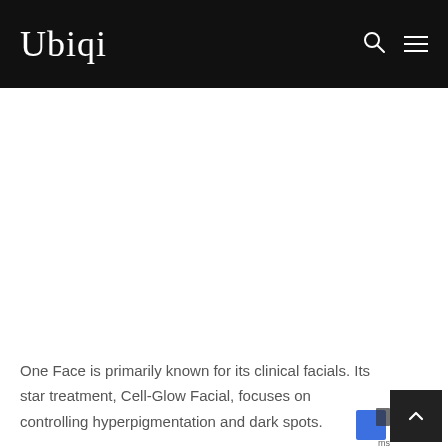Ubiqi
One Face is primarily known for its clinical facials. Its star treatment, Cell-Glow Facial, focuses on controlling hyperpigmentation and dark spots.